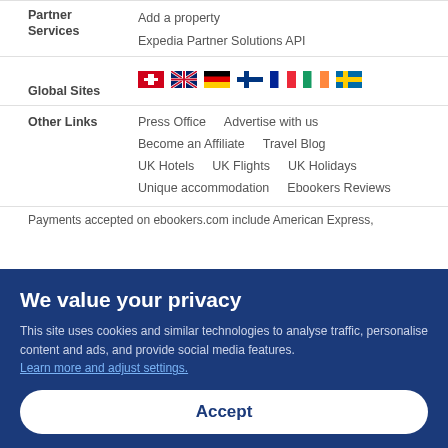Add a property
Partner Services
Expedia Partner Solutions API
Global Sites
[Figure (illustration): Row of country flag icons: Switzerland, UK, Germany, Finland, France, Ireland, Sweden]
Other Links
Press Office
Advertise with us
Become an Affiliate
Travel Blog
UK Hotels
UK Flights
UK Holidays
Unique accommodation
Ebookers Reviews
Payments accepted on ebookers.com include American Express,
We value your privacy
This site uses cookies and similar technologies to analyse traffic, personalise content and ads, and provide social media features. Learn more and adjust settings.
Accept